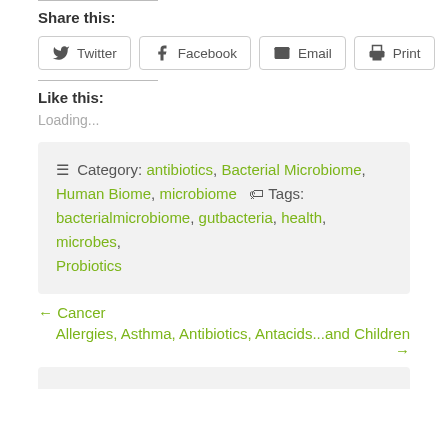Share this:
Twitter  Facebook  Email  Print
Like this:
Loading...
≡ Category: antibiotics, Bacterial Microbiome, Human Biome, microbiome  🏷 Tags: bacterialmicrobiome, gutbacteria, health, microbes, Probiotics
← Cancer
Allergies, Asthma, Antibiotics, Antacids...and Children →